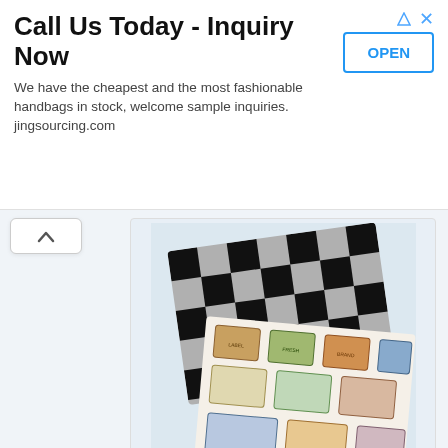[Figure (infographic): Advertisement banner: Call Us Today - Inquiry Now. Text: We have the cheapest and the most fashionable handbags in stock, welcome sample inquiries. jingsourcing.com. Button: OPEN]
[Figure (photo): Photo of two folded fabric pieces: one black and white checkered woven fabric and one with a vintage food packaging label design, on a light blue background]
Supplies:
1 yd. Stylish Fabric Cotton Food Packaging Design
1 yd. Stylish Fabric Checkered Woven Fabric
1.5 yd. fusible fleece